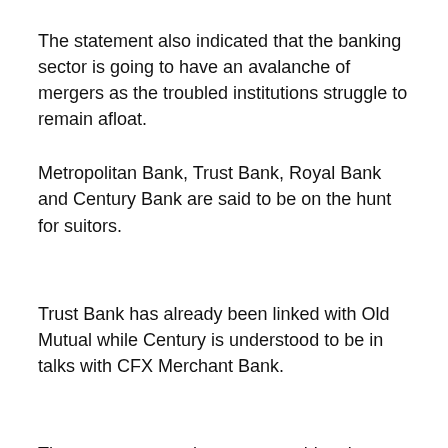The statement also indicated that the banking sector is going to have an avalanche of mergers as the troubled institutions struggle to remain afloat.
Metropolitan Bank, Trust Bank, Royal Bank and Century Bank are said to be on the hunt for suitors.
Trust Bank has already been linked with Old Mutual while Century is understood to be in talks with CFX Merchant Bank.
The statement, analysts say, would curb capital flight from the indigenous banks. Over the past two months some banks have witnessed a massive drop in the size of the deposit